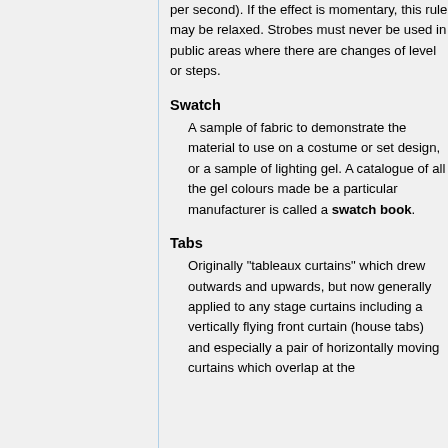per second). If the effect is momentary, this rule may be relaxed. Strobes must never be used in public areas where there are changes of level or steps.
Swatch
A sample of fabric to demonstrate the material to use on a costume or set design, or a sample of lighting gel. A catalogue of all the gel colours made be a particular manufacturer is called a swatch book.
Tabs
Originally "tableaux curtains" which drew outwards and upwards, but now generally applied to any stage curtains including a vertically flying front curtain (house tabs) and especially a pair of horizontally moving curtains which overlap at the